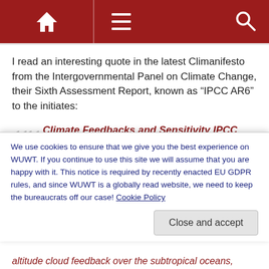Navigation bar with home icon, menu icon, and search icon
I read an interesting quote in the latest Climanifesto from the Intergovernmental Panel on Climate Change, their Sixth Assessment Report, known as “IPCC AR6” to the initiates:
Climate Feedbacks and Sensitivity IPCC AR6 WGI Section 7.7
The net effect of changes in clouds in response to global warming is to amplify human-induced warming, that is
We use cookies to ensure that we give you the best experience on WUWT. If you continue to use this site we will assume that you are happy with it. This notice is required by recently enacted EU GDPR rules, and since WUWT is a globally read website, we need to keep the bureaucrats off our case! Cookie Policy
altitude cloud feedback over the subtropical oceans,